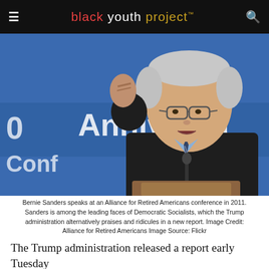black youth project™
[Figure (photo): Bernie Sanders speaking at a podium with raised fist, blue banner with 'Anniversary' text visible behind him]
Bernie Sanders speaks at an Alliance for Retired Americans conference in 2011. Sanders is among the leading faces of Democratic Socialists, which the Trump administration alternatively praises and ridicules in a new report. Image Credit: Alliance for Retired Americans Image Source: Flickr
The Trump administration released a report early Tuesday